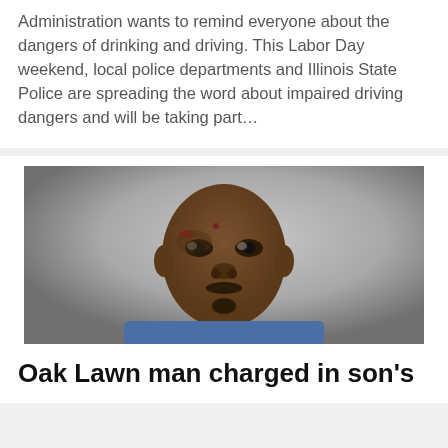Administration wants to remind everyone about the dangers of drinking and driving. This Labor Day weekend, local police departments and Illinois State Police are spreading the word about impaired driving dangers and will be taking part…
[Figure (photo): Mugshot-style photo of a man in a blue shirt against a gray background, with visible injury above left eye]
Oak Lawn man charged in son's